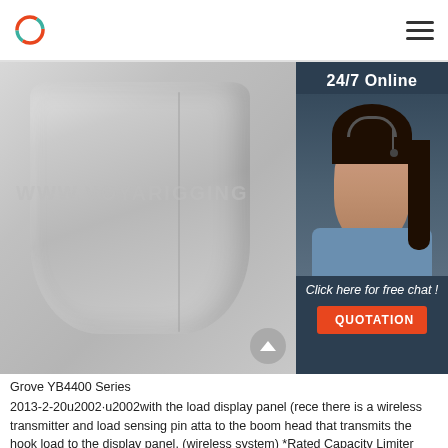www.voyarigging.com
[Figure (photo): Close-up photo of a metal cylindrical/conical rigging component (Grove YB4400 Series part), silver/grey metallic surface with watermark 'WWW.VOYARIGGING' overlaid. A customer service chat widget is overlaid on the right side showing '24/7 Online', a smiling woman with a headset, 'Click here for free chat!', and an orange 'QUOTATION' button.]
Grove YB4400 Series
2013-2-20u2002·u2002with the load display panel (rece there is a wireless transmitter and load sensing pin atta to the boom head that transmits the hook load to the display panel. (wireless system) *Rated Capacity Limiter (RCL) Similar to the Load Indicator, but stops the telescope out and boom lift